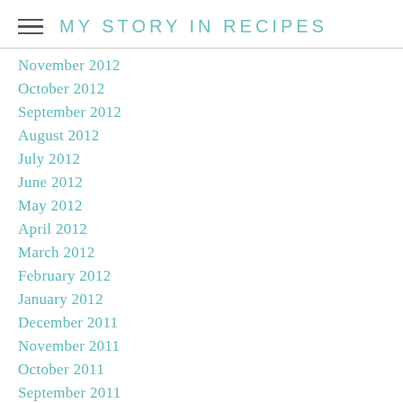MY STORY IN RECIPES
November 2012
October 2012
September 2012
August 2012
July 2012
June 2012
May 2012
April 2012
March 2012
February 2012
January 2012
December 2011
November 2011
October 2011
September 2011
August 2011
July 2011